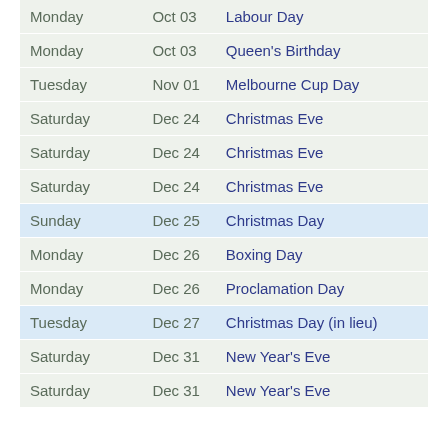| Day | Date | Holiday |
| --- | --- | --- |
| Monday | Oct 03 | Labour Day |
| Monday | Oct 03 | Queen's Birthday |
| Tuesday | Nov 01 | Melbourne Cup Day |
| Saturday | Dec 24 | Christmas Eve |
| Saturday | Dec 24 | Christmas Eve |
| Saturday | Dec 24 | Christmas Eve |
| Sunday | Dec 25 | Christmas Day |
| Monday | Dec 26 | Boxing Day |
| Monday | Dec 26 | Proclamation Day |
| Tuesday | Dec 27 | Christmas Day (in lieu) |
| Saturday | Dec 31 | New Year's Eve |
| Saturday | Dec 31 | New Year's Eve |